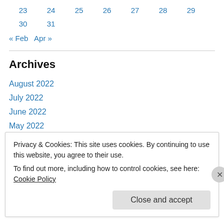23  24  25  26  27  28  29
30  31
« Feb   Apr »
Archives
August 2022
July 2022
June 2022
May 2022
April 2022
March 2022
Privacy & Cookies: This site uses cookies. By continuing to use this website, you agree to their use.
To find out more, including how to control cookies, see here: Cookie Policy
Close and accept